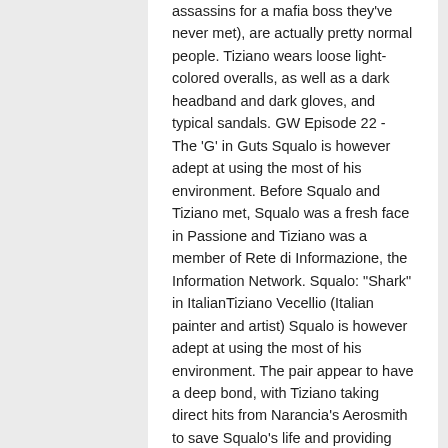assassins for a mafia boss they've never met), are actually pretty normal people. Tiziano wears loose light-colored overalls, as well as a dark headband and dark gloves, and typical sandals. GW Episode 22 - The 'G' in Guts Squalo is however adept at using the most of his environment. Before Squalo and Tiziano met, Squalo was a fresh face in Passione and Tiziano was a member of Rete di Informazione, the Information Network. Squalo: "Shark" in ItalianTiziano Vecellio (Italian painter and artist) Squalo is however adept at using the most of his environment. The pair appear to have a deep bond, with Tiziano taking direct hits from Narancia's Aerosmith to save Squalo's life and providing his partner with a source of liquid to use for Clash, that being his own blood. cakeys-bizarre-adventure. After the attack, Narancia finds that he is unable to tell the truth to his friends as Tiziano's Stand is controlling his speech and movement in a manner that they are constantly contradicting one another. Tiziano and Squalo's ambush on Team Bucciarati continues. Date of Death Having cut off his tongue to incapacitate Talking Head, Giorno's ladybug is transformed into a new tongue by Giorno's Gold Experience. Squalo is a young man of slim build, keeping braided light hair. Gender Squalo and Tiziano Evidence to